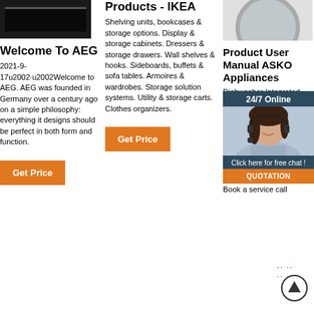[Figure (photo): Dark appliance/TV image at top of left column]
Welcome To AEG
2021-9-17u2002·u2002Welcome to AEG. AEG was founded in Germany over a century ago on a simple philosophy: everything it designs should be perfect in both form and function.
Get Price
Products - IKEA
Shelving units, bookcases & storage options. Display & storage cabinets. Dressers & storage drawers. Wall shelves & hooks. Sideboards, buffets & sofa tables. Armoires & wardrobes. Storage solution systems. Utility & storage carts. Clothes organizers.
Get Price
[Figure (photo): Appliance photo at top of right column]
Product User Manual ASKO Appliances
Dishwasher Integrated Dishwasher DFI644B Integrated Dishwasher DFI655G integrated Dishwasher DFI655GXXL. Entire range. ASKO Design Ranges Kitchen Laundry Why ASKO Customer care. Contact Book a service call
[Figure (screenshot): 24/7 Online chat popup with customer service representative photo, 'Click here for free chat!' text and orange QUOTATION button]